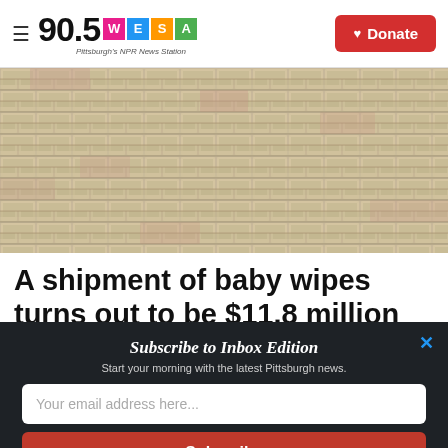90.5 WESA Pittsburgh's NPR News Station — Donate
[Figure (photo): A stacked pile of packages/bricks wrapped in beige/brown material, arranged in rows filling the frame.]
A shipment of baby wipes turns out to be $11.8 million
Subscribe to Inbox Edition
Start your morning with the latest Pittsburgh news.
Your email address here...
Subscribe